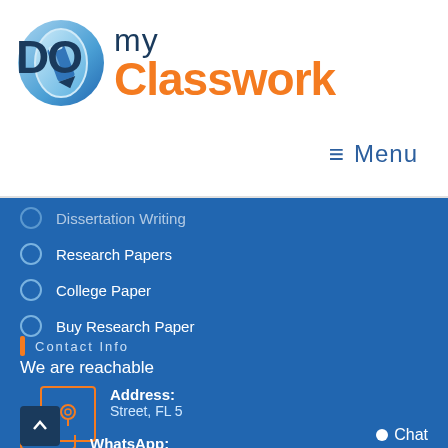[Figure (logo): Do my Classwork logo with blue circular icon containing a pen/pencil, text 'DO my Classwork' where DO is in dark blue and Classwork is in orange]
≡  Menu
Dissertation Writing
Research Papers
College Paper
Buy Research Paper
Contact Info
We are reachable
Address:
Street, FL 5
WhatsApp:
+1 (213) 587 4306